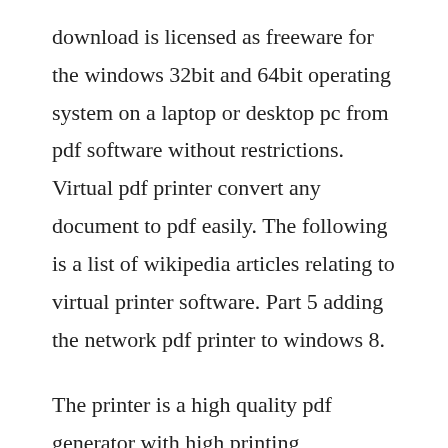download is licensed as freeware for the windows 32bit and 64bit operating system on a laptop or desktop pc from pdf software without restrictions. Virtual pdf printer convert any document to pdf easily. The following is a list of wikipedia articles relating to virtual printer software. Part 5 adding the network pdf printer to windows 8.
The printer is a high quality pdf generator with high printing resolution, pdf document information creation, pdf. Emf virtual printer driver for developers royalty free. Supports